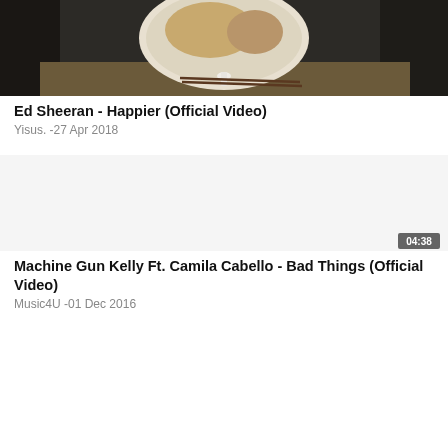[Figure (screenshot): Thumbnail image of a video showing a dinner plate with food and a spoon on a dark table surface.]
Ed Sheeran - Happier (Official Video)
Yisus. -27 Apr 2018
[Figure (screenshot): Blank/white thumbnail area for second video with a duration badge showing 04:38 in the bottom right corner.]
Machine Gun Kelly Ft. Camila Cabello - Bad Things (Official Video)
Music4U -01 Dec 2016